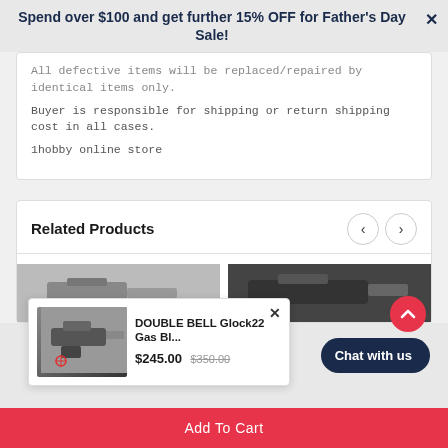Spend over $100 and get further 15% OFF for Father's Day Sale!
All defective items will be replaced/repaired by identical items only.
Buyer is responsible for shipping or return shipping cost in all cases.
1hobby online store
Related Products
[Figure (photo): Product thumbnail images of airsoft/BB guns in a related products carousel]
[Figure (photo): Popup card showing DOUBLE BELL Glock22 Gas Bl... product with gun image, price $245.00 (was $350.00)]
DOUBLE BELL Glock22 Gas Bl...
$245.00 $350.00
Chat with us
Add To Cart